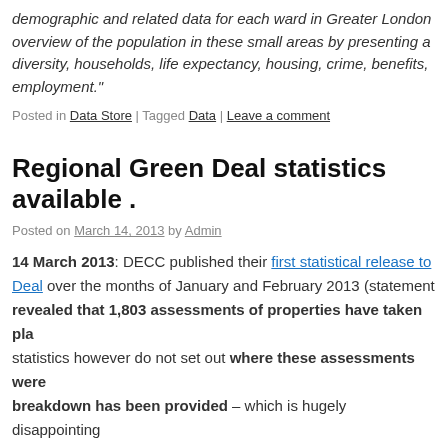demographic and related data for each ward in Greater London... overview of the population in these small areas by presenting a... diversity, households, life expectancy, housing, crime, benefits,... employment."
Posted in Data Store | Tagged Data | Leave a comment
Regional Green Deal statistics available .
Posted on March 14, 2013 by Admin
14 March 2013: DECC published their first statistical release to... Deal over the months of January and February 2013 (statement... revealed that 1,803 assessments of properties have taken pla... statistics however do not set out where these assessments were... breakdown has been provided – which is hugely disappointing... conversation took place.
[Figure (screenshot): Tweet from @DECCgovuk about #GreenDeal and Energy Company Obligation]